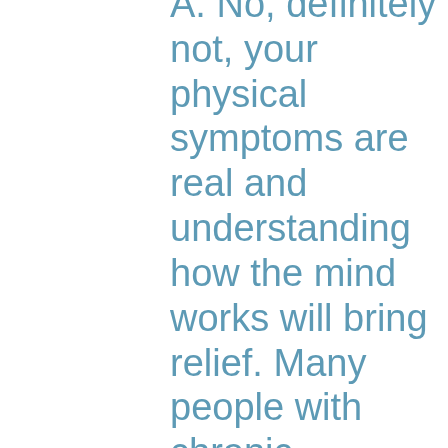A. No, definitely not, your physical symptoms are real and understanding how the mind works will bring relief. Many people with chronic physical issues often suffer with anxiety, depression, a history of trauma and mood disorders that are all coming from an innocent...